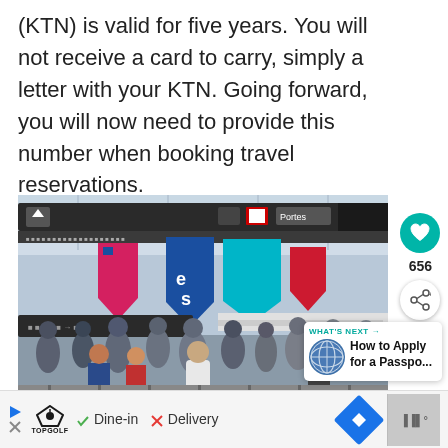(KTN) is valid for five years. You will not receive a card to carry, simply a letter with your KTN. Going forward, you will now need to provide this number when booking travel reservations.
[Figure (photo): Airport terminal interior showing a crowd of travelers waiting in a security or check-in line. Colorful directional banners hang from the ceiling including teal, blue, and red arrow-shaped signs. Text 'es' visible on a blue banner. UI overlays visible: heart button with count 656, share button, and a 'What's Next' card showing 'How to Apply for a Passpo...']
[Figure (screenshot): Advertisement bar at the bottom with TopGolf logo, play/close icons, checkmark Dine-in, X Delivery text, a blue diamond map pin icon, and a grey block on the right.]